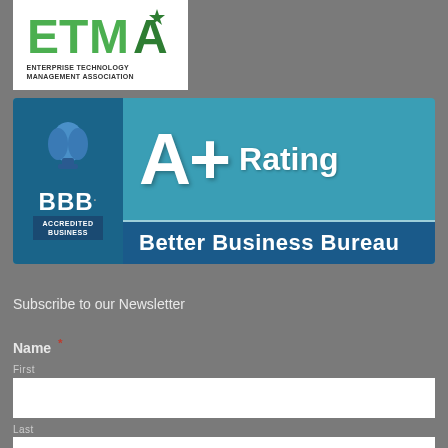[Figure (logo): ETMA Enterprise Technology Management Association logo with green letters on white background]
[Figure (logo): BBB A+ Rating Accredited Business Better Business Bureau logo on teal and blue background]
Subscribe to our Newsletter
Name *
First
Last